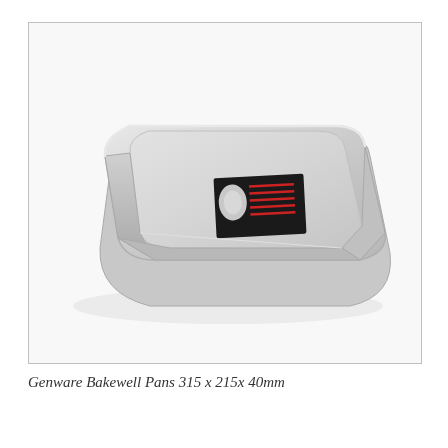[Figure (photo): A rectangular aluminium bakewell pan with slightly raised sides and rounded corners, photographed from a slight angle above. The pan is silver/aluminium in color. A black product label is visible on the inside surface of the pan. The pan has a shiny metallic finish.]
Genware Bakewell Pans 315 x 215x 40mm